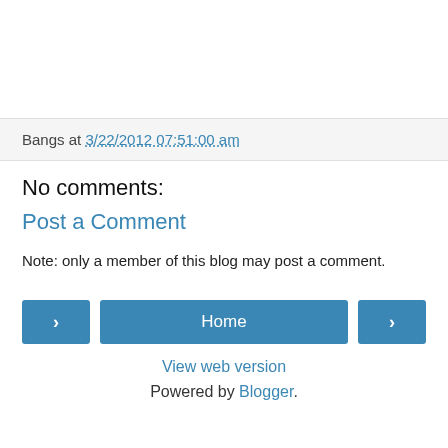Bangs at 3/22/2012 07:51:00 am
No comments:
Post a Comment
Note: only a member of this blog may post a comment.
Home | View web version | Powered by Blogger.